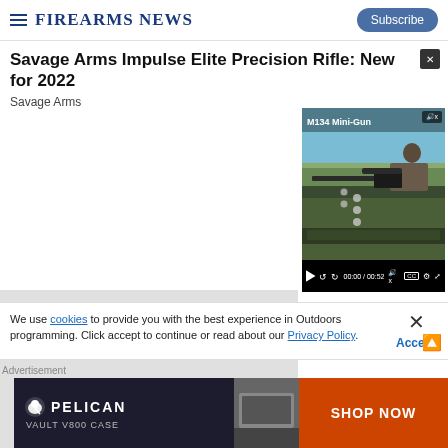Firearms News
Savage Arms Impulse Elite Precision Rifle: New for 2022
Savage Arms
[Figure (screenshot): Video player showing M134 Mini-Gun video with a man firing a large mounted gun, controls showing 00:00 / 00:52]
[Figure (photo): Partial article image, light gray background]
We use cookies to provide you with the best experience in Outdoors programming. Click accept to continue or read about our Privacy Policy.
Advertisement
[Figure (infographic): Pelican Vault V800 Case advertisement with Shop Now button]